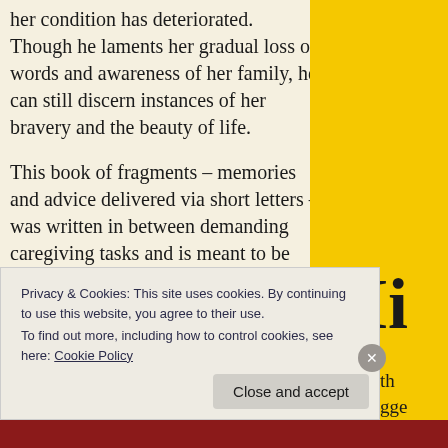her condition has deteriorated. Though he laments her gradual loss of words and awareness of her family, he can still discern instances of her bravery and the beauty of life.
This book of fragments – memories and advice delivered via short letters – was written in between demanding caregiving tasks and is meant to be read in those same gaps. Dementia is one situation in which you should definitely
[Figure (other): Partial book cover visible on right side, yellow/gold background with large bold text 'Mi' visible]
Privacy & Cookies: This site uses cookies. By continuing to use this website, you agree to their use.
To find out more, including how to control cookies, see here: Cookie Policy
Close and accept